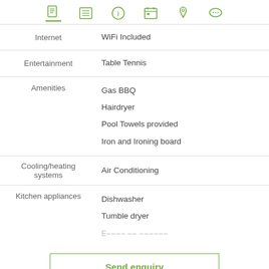Navigation icons: document, list, info, calendar, location, chat
| Category | Details |
| --- | --- |
| Internet | WiFi Included |
| Entertainment | Table Tennis |
| Amenities | Gas BBQ
Hairdryer
Pool Towels provided
Iron and Ironing board |
| Cooling/heating systems | Air Conditioning |
| Kitchen appliances | Dishwasher
Tumble dryer
Expresso coffee machine |
Send enquiry